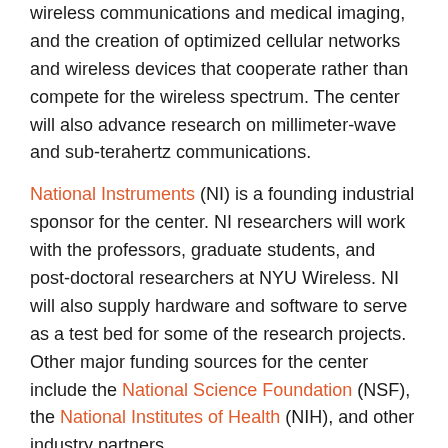wireless communications and medical imaging, and the creation of optimized cellular networks and wireless devices that cooperate rather than compete for the wireless spectrum. The center will also advance research on millimeter-wave and sub-terahertz communications.
National Instruments (NI) is a founding industrial sponsor for the center. NI researchers will work with the professors, graduate students, and post-doctoral researchers at NYU Wireless. NI will also supply hardware and software to serve as a test bed for some of the research projects. Other major funding sources for the center include the National Science Foundation (NSF), the National Institutes of Health (NIH), and other industry partners.
The founder and director of NYU Wireless is Professor Theodore (Ted) Rappaport, a professor and member of the